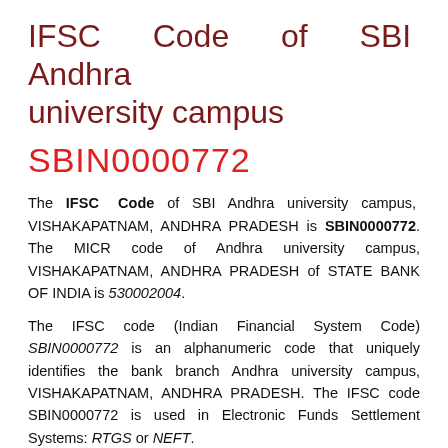IFSC Code of SBI Andhra university campus
SBIN0000772
The IFSC Code of SBI Andhra university campus, VISHAKAPATNAM, ANDHRA PRADESH is SBIN0000772. The MICR code of Andhra university campus, VISHAKAPATNAM, ANDHRA PRADESH of STATE BANK OF INDIA is 530002004.
The IFSC code (Indian Financial System Code) SBIN0000772 is an alphanumeric code that uniquely identifies the bank branch Andhra university campus, VISHAKAPATNAM, ANDHRA PRADESH. The IFSC code SBIN0000772 is used in Electronic Funds Settlement Systems: RTGS or NEFT.
The full address of STATE BANK OF INDIA Andhra university campus, VISHAKAPATNAM, ANDHRA PRADESH is VISAKHAPATNAM ANDHRA PRADESH PIN 530003.